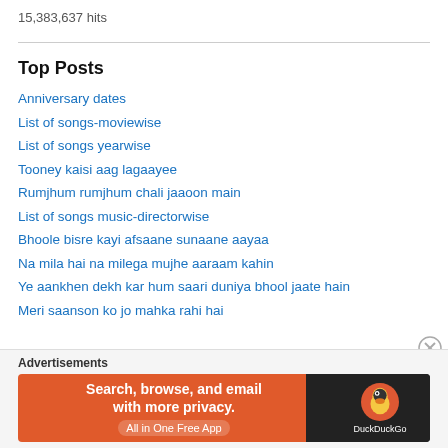15,383,637 hits
Top Posts
Anniversary dates
List of songs-moviewise
List of songs yearwise
Tooney kaisi aag lagaayee
Rumjhum rumjhum chali jaaoon main
List of songs music-directorwise
Bhoole bisre kayi afsaane sunaane aayaa
Na mila hai na milega mujhe aaraam kahin
Ye aankhen dekh kar hum saari duniya bhool jaate hain
Meri saanson ko jo mahka rahi hai
[Figure (screenshot): DuckDuckGo advertisement banner with orange background on left and dark background on right with DuckDuckGo logo. Text: Search, browse, and email with more privacy. All in One Free App.]